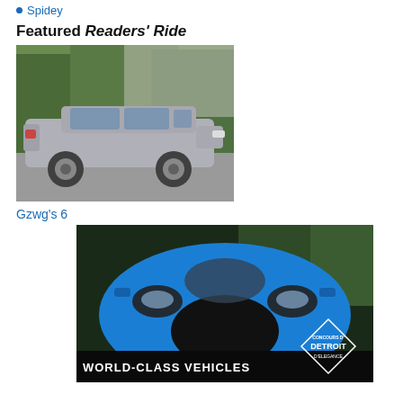Spidey
Featured Readers' Ride
[Figure (photo): Silver/grey station wagon (estate car) parked in a driveway with trees in background]
Gzwg's 6
[Figure (photo): Blue McLaren Senna supercar front view, with Detroit d'Elegance diamond logo overlay and 'WORLD-CLASS VEHICLES' text at bottom]